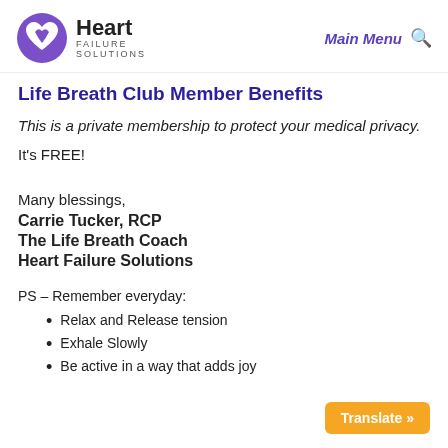Heart Failure Solutions | Main Menu 🔍
Life Breath Club Member Benefits
This is a private membership to protect your medical privacy.
It's FREE!
Many blessings,
Carrie Tucker, RCP
The Life Breath Coach
Heart Failure Solutions
PS – Remember everyday:
Relax and Release tension
Exhale Slowly
Be active in a way that adds joy